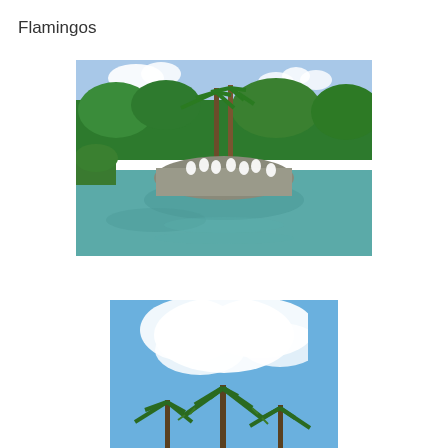Flamingos
[Figure (photo): Outdoor scene of a zoo or wildlife park with flamingos gathered on a rocky island surrounded by a turquoise pond, with tall palm trees and dense green vegetation in the background under a partly cloudy sky.]
[Figure (photo): Upward-looking photo of palm tree tops against a bright blue sky with large white clouds.]